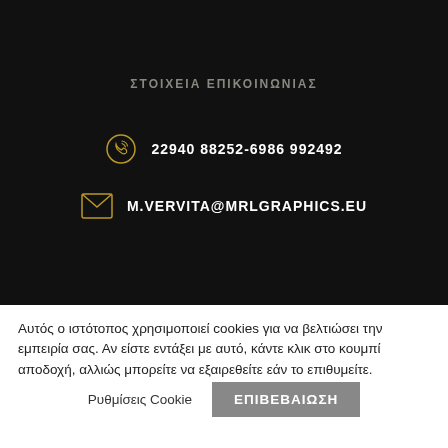ΣΤΟΙΧΕΙΑ ΕΠΙΚΟΙΝΩΝΙΑΣ
22940 88252-6986 992492
M.VERVITA@MRLGRAPHICS.EU
Αυτός ο ιστότοπος χρησιμοποιεί cookies για να βελτιώσει την εμπειρία σας. Αν είστε εντάξει με αυτό, κάντε κλικ στο κουμπί αποδοχή, αλλιώς μπορείτε να εξαιρεθείτε εάν το επιθυμείτε.
Ρυθμίσεις Cookie
ΕΠΙΒΕΒΑΙΩΣΗ